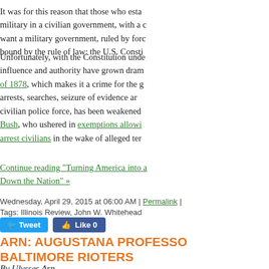It was for this reason that those who esta... military in a civilian government, with a c... want a military government, ruled by forc... bound by the rule of law: the U.S. Consti...
Unfortunately, with the Constitution unde... influence and authority have grown dram... of 1878, which makes it a crime for the g... arrests, searches, seizure of evidence ar... civilian police force, has been weakened... Bush, who ushered in exemptions allowi... arrest civilians in the wake of alleged ter...
Continue reading "Turning America into a... Down the Nation" »
Wednesday, April 29, 2015 at 06:00 AM | Permalink |
Tags: Illinois Review, John W. Whitehead
[Figure (screenshot): Tweet and Like social media buttons]
ARN: AUGUSTANA PROFESSOR BALTIMORE RIOTERS
By Ulysses Arn -